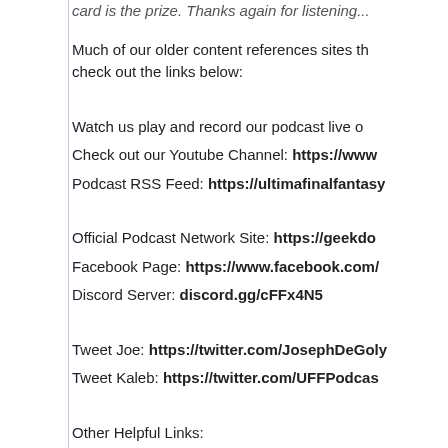card is the prize. Thanks again for listening...
Much of our older content references sites that have moved, check out the links below:
Watch us play and record our podcast live o
Check out our Youtube Channel: https://www
Podcast RSS Feed: https://ultimafinalfantasy
Official Podcast Network Site: https://geekdo
Facebook Page: https://www.facebook.com/
Discord Server: discord.gg/cFFx4N5
Tweet Joe: https://twitter.com/JosephDeGoly
Tweet Kaleb: https://twitter.com/UFFPodcas
Other Helpful Links:
Patreon: https://www.patreon.com/ultimafina
Amazon Affiliate Link: https://amzn.to/38tcee
Paypal Donations: https://www.paypal.com/c
Check Out Our other gaming show, [Nude]...